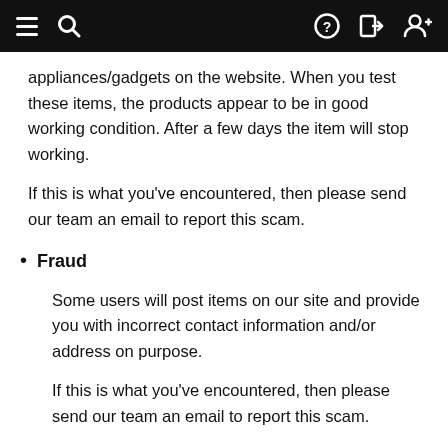Navigation bar with menu, search, help, login, and add user icons
appliances/gadgets on the website. When you test these items, the products appear to be in good working condition. After a few days the item will stop working.
If this is what you've encountered, then please send our team an email to report this scam.
Fraud
Some users will post items on our site and provide you with incorrect contact information and/or address on purpose.
If this is what you've encountered, then please send our team an email to report this scam.